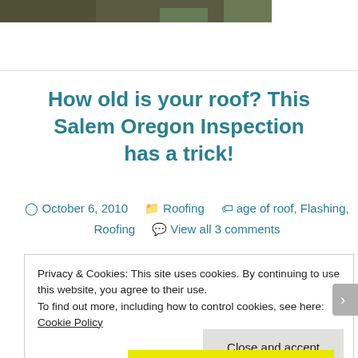[Figure (photo): Partial photo strip showing outdoor scene with plants/ground]
How old is your roof? This Salem Oregon Inspection has a trick!
October 6, 2010   Roofing   age of roof, Flashing, Roofing   View all 3 comments
Privacy & Cookies: This site uses cookies. By continuing to use this website, you agree to their use.
To find out more, including how to control cookies, see here: Cookie Policy
Close and accept